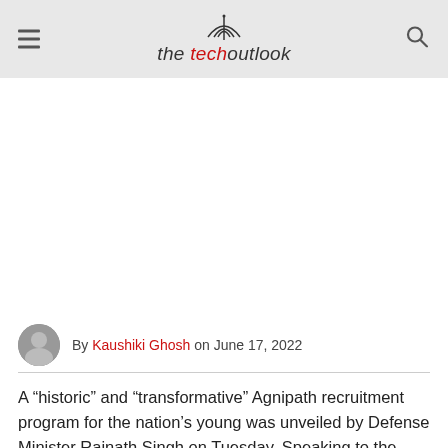the tech outlook
[Figure (other): Advertisement or empty white space area below the site header]
By Kaushiki Ghosh on June 17, 2022
A “historic” and “transformative” Agnipath recruitment program for the nation’s young was unveiled by Defense Minister Rajnath Singh on Tuesday. Speaking to the media alongside the